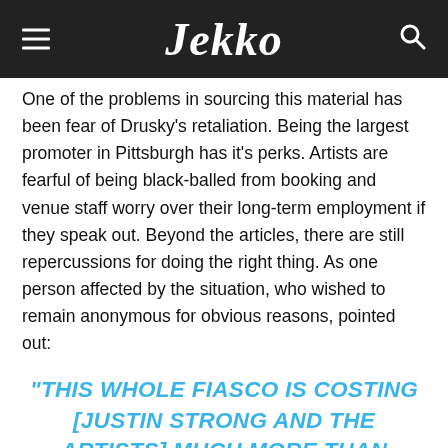Jekko
One of the problems in sourcing this material has been fear of Drusky's retaliation. Being the largest promoter in Pittsburgh has it's perks. Artists are fearful of being black-balled from booking and venue staff worry over their long-term employment if they speak out. Beyond the articles, there are still repercussions for doing the right thing. As one person affected by the situation, who wished to remain anonymous for obvious reasons, pointed out:
“THIS WHOLE FIASCO IS COSTING [JUSTIN STRONG AND THE ARTISTS] MUCH MORE THAN DRUSKY, WHICH IS RIDICULOUS. BUT PEOPLE DON’T PUT AN ‘ACCIDENTAL CASUAL PUBLIC RACISM’ CLAUSE IN